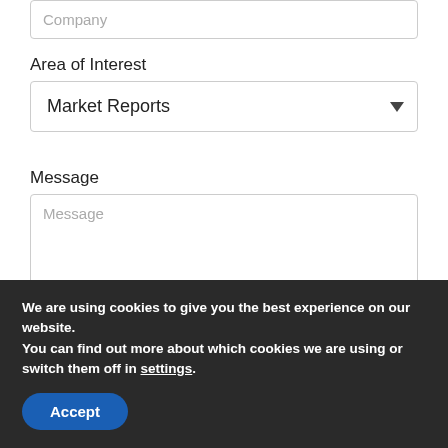Company
Area of Interest
Market Reports
Message
Message
[Figure (screenshot): reCAPTCHA widget with checkbox, 'I'm not a robot' text, and Google reCAPTCHA logo]
We are using cookies to give you the best experience on our website.
You can find out more about which cookies we are using or switch them off in settings.
Accept